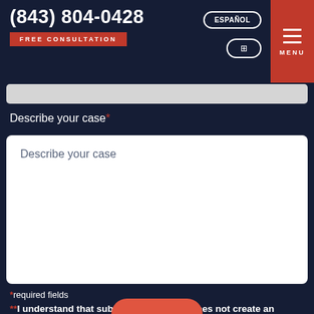(843) 804-0428 FREE CONSULTATION ESPAÑOL MENU
Describe your case*
Describe your case
*required fields
**I understand that submitting this form does not create an attorney-client relationship.